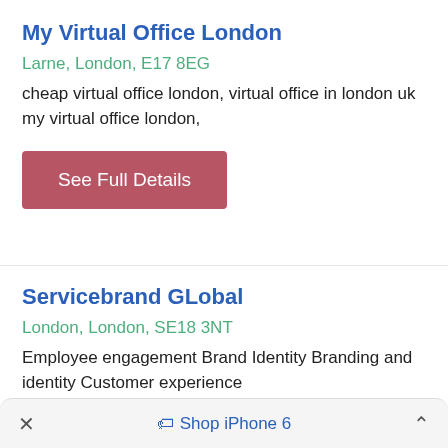My Virtual Office London
Larne, London, E17 8EG
cheap virtual office london, virtual office in london uk my virtual office london,
See Full Details
Servicebrand GLobal
London, London, SE18 3NT
Employee engagement Brand Identity Branding and identity Customer experience
× Shop iPhone 6 ^